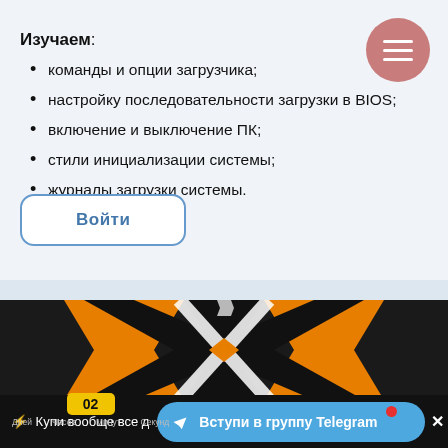Изучаем:
команды и опции загрузчика;
настройку последовательности загрузки в BIOS;
включение и выключение ПК;
стили инициализации системы;
журналы загрузки системы.
Войти
[Figure (logo): Orange and black X logo on dark background]
⚡ Купи вообще все д...
Вступи в группу Telegram
02 Дней Часов Минут Секунд